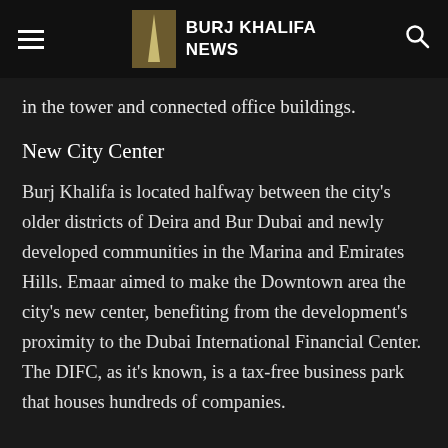BURJ KHALIFA NEWS
in the tower and connected office buildings.
New City Center
Burj Khalifa is located halfway between the city’s older districts of Deira and Bur Dubai and newly developed communities in the Marina and Emirates Hills. Emaar aimed to make the Downtown area the city’s new center, benefiting from the development’s proximity to the Dubai International Financial Center. The DIFC, as it’s known, is a tax-free business park that houses hundreds of companies.